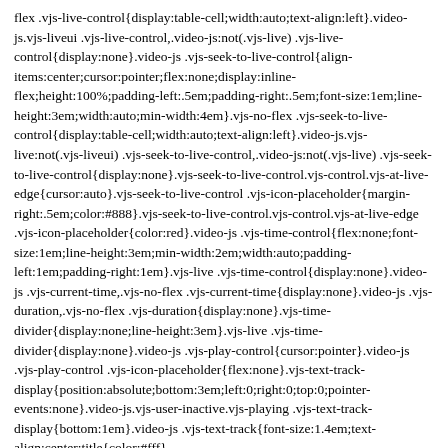flex .vjs-live-control{display:table-cell;width:auto;text-align:left}.video-js.vjs-liveui .vjs-live-control,.video-js:not(.vjs-live) .vjs-live-control{display:none}.video-js .vjs-seek-to-live-control{align-items:center;cursor:pointer;flex:none;display:inline-flex;height:100%;padding-left:.5em;padding-right:.5em;font-size:1em;line-height:3em;width:auto;min-width:4em}.vjs-no-flex .vjs-seek-to-live-control{display:table-cell;width:auto;text-align:left}.video-js.vjs-live:not(.vjs-liveui) .vjs-seek-to-live-control,.video-js:not(.vjs-live) .vjs-seek-to-live-control{display:none}.vjs-seek-to-live-control.vjs-control.vjs-at-live-edge{cursor:auto}.vjs-seek-to-live-control .vjs-icon-placeholder{margin-right:.5em;color:#888}.vjs-seek-to-live-control.vjs-control.vjs-at-live-edge .vjs-icon-placeholder{color:red}.video-js .vjs-time-control{flex:none;font-size:1em;line-height:3em;min-width:2em;width:auto;padding-left:1em;padding-right:1em}.vjs-live .vjs-time-control{display:none}.video-js .vjs-current-time,.vjs-no-flex .vjs-current-time{display:none}.video-js .vjs-duration,.vjs-no-flex .vjs-duration{display:none}.vjs-time-divider{display:none;line-height:3em}.vjs-live .vjs-time-divider{display:none}.video-js .vjs-play-control{cursor:pointer}.video-js .vjs-play-control .vjs-icon-placeholder{flex:none}.vjs-text-track-display{position:absolute;bottom:3em;left:0;right:0;top:0;pointer-events:none}.video-js.vjs-user-inactive.vjs-playing .vjs-text-track-display{bottom:1em}.video-js .vjs-text-track{font-size:1.4em;text-align:center;title{color:#fff}…